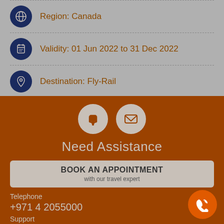Region: Canada
Validity: 01 Jun 2022 to 31 Dec 2022
Destination: Fly-Rail
Need Assistance
BOOK AN APPOINTMENT
with our travel expert
Telephone
+971 4 2055000
Support
800288465